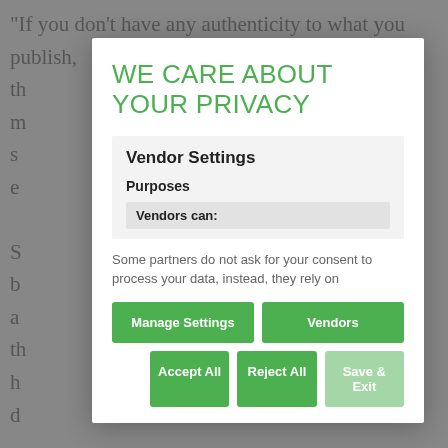"If you don't have any authenticity to what you publish, the... m... s... e...
S... b... a... th... h... d...
In... ta... re...
"I... proposing. We are trying to build our life when we are
WE CARE ABOUT YOUR PRIVACY
Vendor Settings
Purposes
Vendors can:
Some partners do not ask for your consent to process your data, instead, they rely on
Manage Settings
Vendors
Accept All
Reject All
Save & Exit